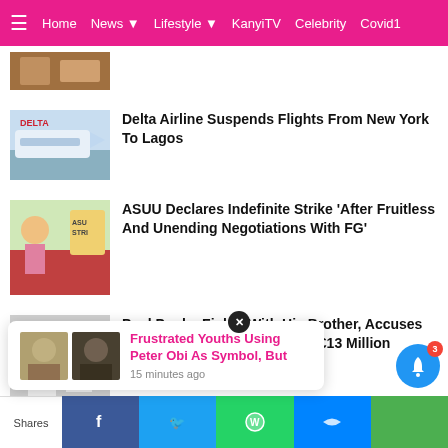≡  Home  News ▾  Lifestyle ▾  KanyiTV  Celebrity  Covid1
[Figure (photo): Partial thumbnail of a person at top]
Delta Airline Suspends Flights From New York To Lagos
[Figure (photo): Delta Airlines plane on runway]
ASUU Declares Indefinite Strike 'After Fruitless And Unending Negotiations With FG'
[Figure (photo): ASUU strike illustration with figures holding signs]
Paul Pogba Fights With His Brother, Accuses Him Of Blackmailing Him For €13 Million
[Figure (photo): Paul Pogba with brother photo]
Shehu Sani Gives 'Security Tip' To Hotel M...
[Figure (photo): Shehu Sani portrait]
Frustrated Youths Using Peter Obi As Symbol, But
15 minutes ago
Shares  [Facebook]  [Twitter]  [WhatsApp]  [Messenger]  [Green]